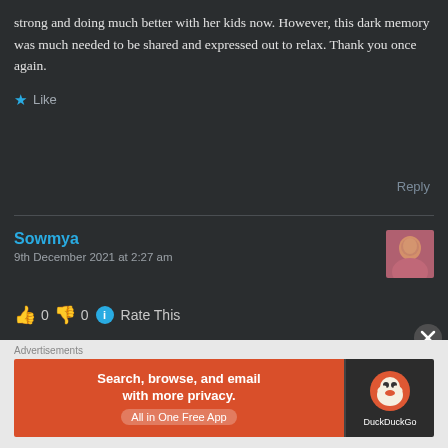strong and doing much better with her kids now. However, this dark memory was much needed to be shared and expressed out to relax. Thank you once again.
★ Like
Reply
Sowmya
9th December 2021 at 2:27 am
👍 0 👎 0 ℹ Rate This
[Figure (screenshot): DuckDuckGo advertisement banner: orange section with text 'Search, browse, and email with more privacy. All in One Free App' and dark section with DuckDuckGo logo and duck mascot.]
Advertisements